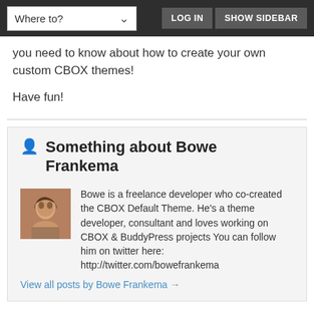Where to? | LOG IN | SHOW SIDEBAR
you need to know about how to create your own custom CBOX themes!
Have fun!
Something about Bowe Frankema
Bowe is a freelance developer who co-created the CBOX Default Theme. He's a theme developer, consultant and loves working on CBOX & BuddyPress projects You can follow him on twitter here: http://twitter.com/bowefrankema
View all posts by Bowe Frankema →